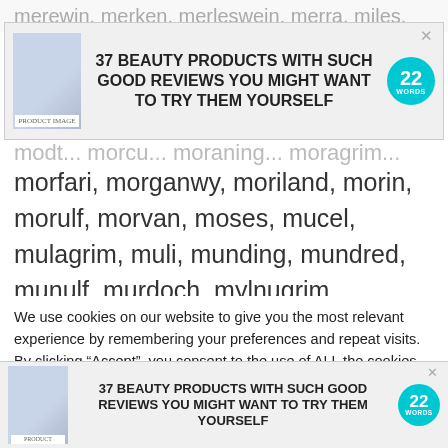merewin. merken. merleswein. merra. miles. modt... morce... moraning... moragrim... mora... morstin...
[Figure (screenshot): Advertisement banner: 37 BEAUTY PRODUCTS WITH SUCH GOOD REVIEWS YOU MIGHT WANT TO TRY THEM YOURSELF with 22 WORDS badge and product image]
morfari, morganwy, moriland, morin, morulf, morvan, moses, mucel, mulagrim, muli, munding, mundred, munulf, murdoch, mylnugrim, nardred, nawen, nicholas, nigel, nivelung, norgiold, norigot, norman, northmann, not, novi, ocsen, oda, odard, odbold, odelin, odeva, odfrid, odhgrim, odhvidh, odin, odo, oepi, offa, oger, oghe, ogis,
We use cookies on our website to give you the most relevant experience by remembering your preferences and repeat visits. By clicking “Accept”, you consent to the use of ALL the cookies.
Do not sell my personal information.
CLOSE
[Figure (screenshot): Advertisement banner at bottom: 37 BEAUTY PRODUCTS WITH SUCH GOOD REVIEWS YOU MIGHT WANT TO TRY THEM YOURSELF with 22 WORDS badge and product image]